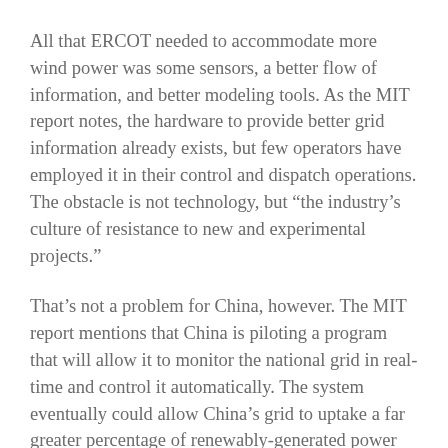All that ERCOT needed to accommodate more wind power was some sensors, a better flow of information, and better modeling tools. As the MIT report notes, the hardware to provide better grid information already exists, but few operators have employed it in their control and dispatch operations. The obstacle is not technology, but “the industry’s culture of resistance to new and experimental projects.”
That’s not a problem for China, however. The MIT report mentions that China is piloting a program that will allow it to monitor the national grid in real-time and control it automatically. The system eventually could allow China’s grid to uptake a far greater percentage of renewably-generated power than the antiquated and obsolete U.S. grid can, although the former is still the world’s top consumer of coal for power generation.
Another 2010 study by the German Renewable